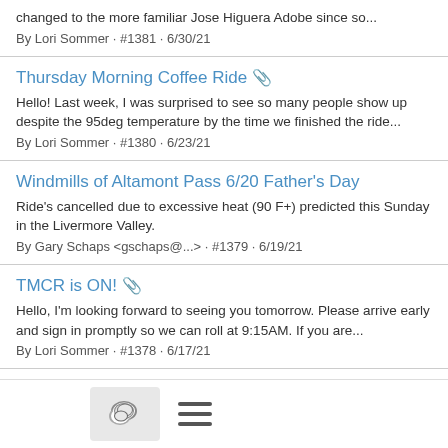changed to the more familiar Jose Higuera Adobe since so...
By Lori Sommer · #1381 · 6/30/21
Thursday Morning Coffee Ride 📎
Hello! Last week, I was surprised to see so many people show up despite the 95deg temperature by the time we finished the ride...
By Lori Sommer · #1380 · 6/23/21
Windmills of Altamont Pass 6/20 Father's Day
Ride's cancelled due to excessive heat (90 F+) predicted this Sunday in the Livermore Valley.
By Gary Schaps <gschaps@...> · #1379 · 6/19/21
TMCR is ON! 📎
Hello, I'm looking forward to seeing you tomorrow. Please arrive early and sign in promptly so we can roll at 9:15AM. If you are...
By Lori Sommer · #1378 · 6/17/21
Monday Morning Recovery Ride
Monday Morning Recovery Ride - This Monday the MMRR will...